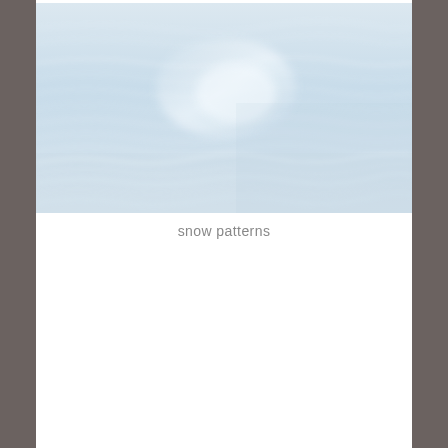[Figure (photo): Close-up aerial or macro photograph of snow surface showing soft undulating wave-like patterns in pale blue, white, and light grey tones with subtle light reflection near the center.]
snow patterns